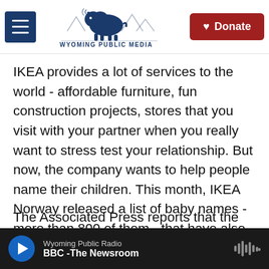Wyoming Public Media | Donate
IKEA provides a lot of services to the world - affordable furniture, fun construction projects, stores that you visit with your partner when you really want to stress test your relationship. But now, the company wants to help people name their children. This month, IKEA Norway released a list of baby names - more than 800 of them - that have also been used as names of IKEA goods over the decades.
The Associated Press reports that the move comes as Norway and other Nordic countries have been
Wyoming Public Radio
BBC -The Newsroom